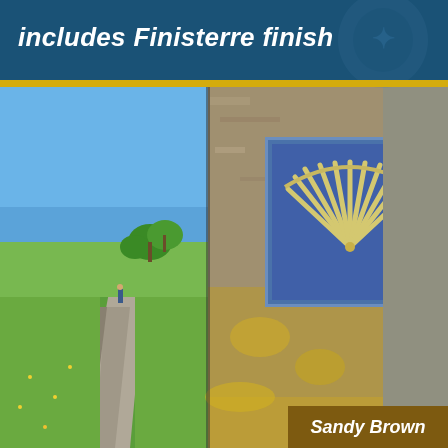includes Finisterre finish
[Figure (photo): Book cover photo showing two images: on the left, a pilgrim walking along a rural road with green grass and trees in the background under a blue sky; on the right, a close-up of a stone waymarker post with a blue ceramic tile featuring a yellow scallop shell symbol (the Camino de Santiago symbol), with yellow lichen on the stone.]
Sandy Brown